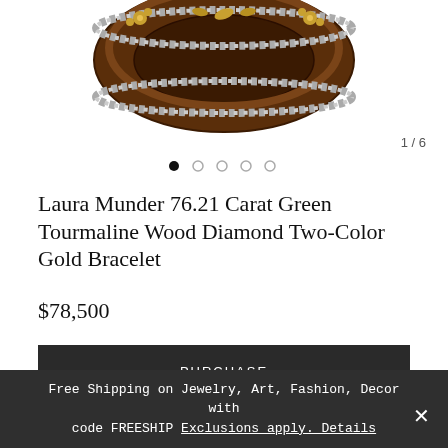[Figure (photo): Close-up photo of a brown wood and gold/silver bracelet with rope-twist border and floral gold accents, viewed from above showing the oval opening]
1 / 6
[Figure (other): Carousel dot indicators: 5 dots, first filled black, rest gray]
Laura Munder 76.21 Carat Green Tourmaline Wood Diamond Two-Color Gold Bracelet
$78,500
PURCHASE
MAKE AN OFFER
Free Shipping on Jewelry, Art, Fashion, Decor with code FREESHIP Exclusions apply. Details